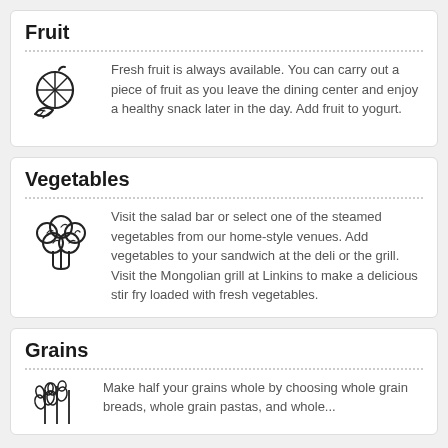Fruit
Fresh fruit is always available. You can carry out a piece of fruit as you leave the dining center and enjoy a healthy snack later in the day. Add fruit to yogurt.
Vegetables
Visit the salad bar or select one of the steamed vegetables from our home-style venues. Add vegetables to your sandwich at the deli or the grill. Visit the Mongolian grill at Linkins to make a delicious stir fry loaded with fresh vegetables.
Grains
Make half your grains whole by choosing whole grain breads, whole grain pastas, and whole...